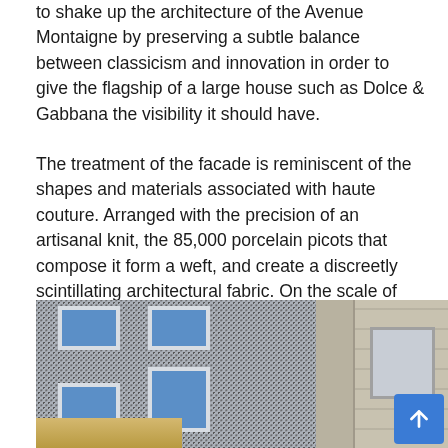to shake up the architecture of the Avenue Montaigne by preserving a subtle balance between classicism and innovation in order to give the flagship of a large house such as Dolce & Gabbana the visibility it should have.
The treatment of the facade is reminiscent of the shapes and materials associated with haute couture. Arranged with the precision of an artisanal knit, the 85,000 porcelain picots that compose it form a weft, and create a discreetly scintillating architectural fabric. On the scale of the district and even of the city, the building becomes a precious fabric, a unique collector's item resulting from a real work of craftsmanship.
[Figure (photo): Photograph showing the textured porcelain picot facade of the Dolce & Gabbana building on Avenue Montaigne, with blue-framed windows arranged in a grid pattern on the knit-like surface (left panel), and an adjacent classical limestone building facade with a stone column and door (right panel).]